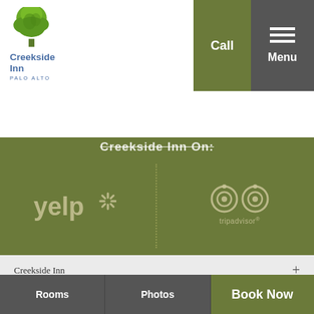[Figure (logo): Creekside Inn Palo Alto logo with green tree illustration and blue text]
Creekside Inn On:
[Figure (logo): Yelp logo in olive/tan color on dark olive background]
[Figure (logo): TripAdvisor owl logo in olive/tan color on dark olive background]
Creekside Inn
Creekside Inn
3400 El Camino Real, Palo Alto, California 94306
Phone: 650-493-2411
Fax: 650-493-6787
Email: frontdesk@creekside-inn.com
Rooms   Photos   Book Now